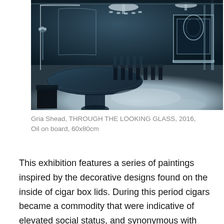[Figure (illustration): A painting depicting an ornate interior space rendered in dark blue and black tones. The scene shows an elegant room with chandeliers, columns, decorative architectural details, a large round table in the foreground left, rows of chairs, and a fireplace mantle visible in the background right.]
Gria Shead, THROUGH THE LOOKING GLASS, 2016, Oil on board, 60x80cm
This exhibition features a series of paintings inspired by the decorative designs found on the inside of cigar box lids. During this period cigars became a commodity that were indicative of elevated social status, and synonymous with cultural refinements of the age. In the Australian context cigar boxes were to become associated with the